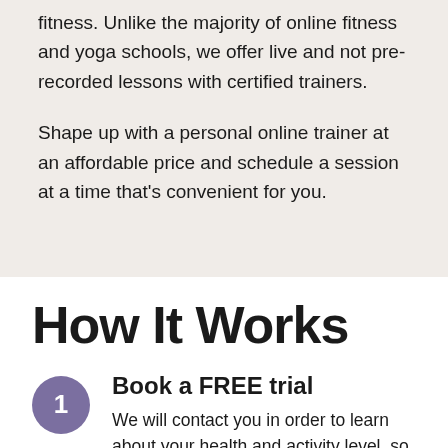fitness. Unlike the majority of online fitness and yoga schools, we offer live and not pre-recorded lessons with certified trainers.

Shape up with a personal online trainer at an affordable price and schedule a session at a time that's convenient for you.
How It Works
1 Book a FREE trial — We will contact you in order to learn about your health and activity level, so we can start...